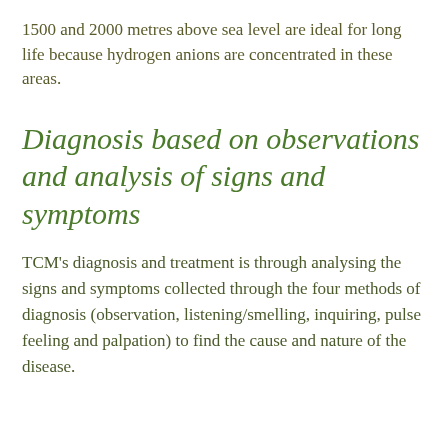1500 and 2000 metres above sea level are ideal for long life because hydrogen anions are concentrated in these areas.
Diagnosis based on observations and analysis of signs and symptoms
TCM's diagnosis and treatment is through analysing the signs and symptoms collected through the four methods of diagnosis (observation, listening/smelling, inquiring, pulse feeling and palpation) to find the cause and nature of the disease.